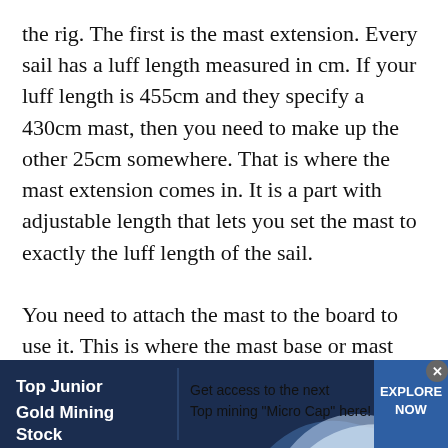the rig. The first is the mast extension. Every sail has a luff length measured in cm. If your luff length is 455cm and they specify a 430cm mast, then you need to make up the other 25cm somewhere. That is where the mast extension comes in. It is a part with adjustable length that lets you set the mast to exactly the luff length of the sail.
You need to attach the mast to the board to use it. This is where the mast base or mast foot comes in. This is a fitting that goes into the mast track on the board and fits into the bottom of the mast extension. There are 2 versions of this. EuroPin
[Figure (other): Advertisement banner for 'Top Junior Gold Mining Stock' with text 'Get access to the next Top mining "Micro Cap" here!' and a blue 'EXPLORE NOW' button on dark navy background with wave graphics.]